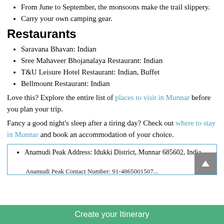From June to September, the monsoons make the trail slippery.
Carry your own camping gear.
Restaurants
Saravana Bhavan: Indian
Sree Mahaveer Bhojanalaya Restaurant: Indian
T&U Leisure Hotel Restaurant: Indian, Buffet
Bellmount Restaurant: Indian
Love this? Explore the entire list of places to visit in Munnar before you plan your trip.
Fancy a good night's sleep after a tiring day? Check out where to stay in Munnar and book an accommodation of your choice.
Anamudi Peak Address: Idukki District, Munnar 685602, India
Create your Itinerary